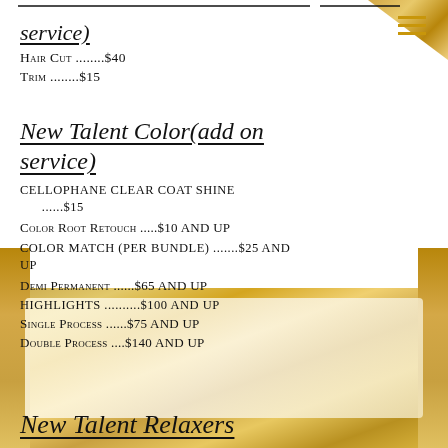service)
Hair cut .......  $40
Trim ........ $15
New Talent Color(add on service)
CELLOPHANE CLEAR COAT SHINE ......$15
Color Root Retouch .....$10 and up
COLOR MATCH (PER BUNDLE) .......$25 AND UP
Demi Permanent ......$65 and up
HIGHLIGHTS ..........$100 AND UP
Single Process ......$75 and up
Double Process ....$140 and up
New Talent Relaxers